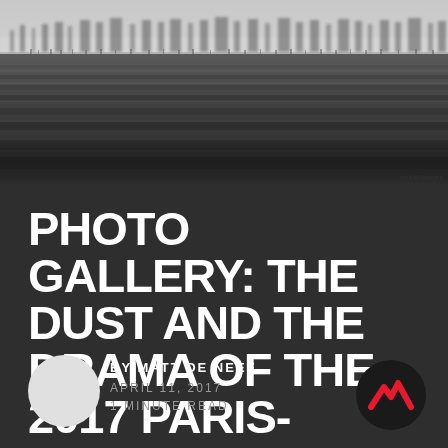[Figure (photo): Black and white landscape photo showing a wide open field with trees in the misty background, people faintly visible along the treeline]
PHOTO GALLERY: THE DUST AND THE DRAMA OF THE 2017 PARIS-ROUBAIX
BY MATT DE NEEF
APRIL 11, 2017
1 MINUTE READ